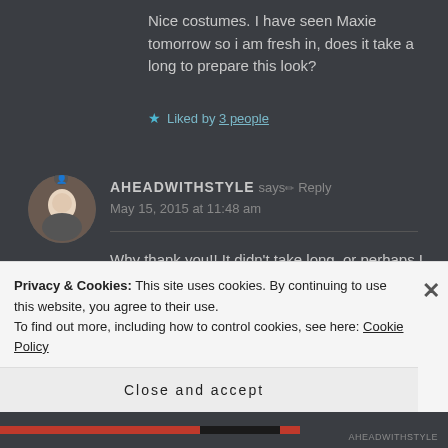Nice costumes. I have seen Maxie tomorrow so i am fresh in, does it take a long to prepare this look?
★ Liked by 3 people
AHEADWITHSTYLE says: Reply
May 15, 2015 at 11:48 am
Why thank you!! It didn't take long, or perhaps I was enjoying it too
Privacy & Cookies: This site uses cookies. By continuing to use this website, you agree to their use.
To find out more, including how to control cookies, see here: Cookie Policy
Close and accept